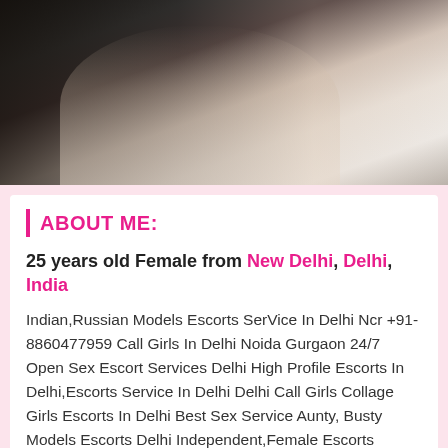[Figure (photo): Young woman in black outfit seated on white bed, photo taken from side/above angle]
ABOUT ME:
25 years old Female from New Delhi, Delhi, India
Indian,Russian Models Escorts SerVice In Delhi Ncr +91-8860477959 Call Girls In Delhi Noida Gurgaon 24/7 Open Sex Escort Services Delhi High Profile Escorts In Delhi,Escorts Service In Delhi Delhi Call Girls Collage Girls Escorts In Delhi Best Sex Service Aunty, Busty Models Escorts Delhi Independent,Female Escorts Delhi.Call Girls Agency 100% Secure